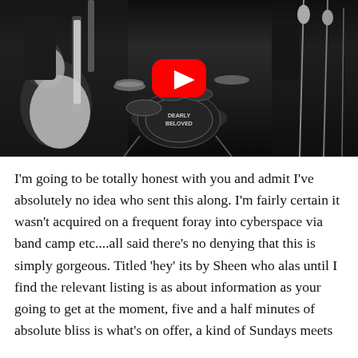[Figure (photo): Black and white photograph of a band performing live on stage, with guitars, drum kit (labeled 'Dearly Beloved'), and microphone stands visible. A red YouTube play button overlay is centered on the image.]
I'm going to be totally honest with you and admit I've absolutely no idea who sent this along. I'm fairly certain it wasn't acquired on a frequent foray into cyberspace via band camp etc....all said there's no denying that this is simply gorgeous. Titled 'hey' its by Sheen who alas until I find the relevant listing is as about information as your going to get at the moment, five and a half minutes of absolute bliss is what's on offer, a kind of Sundays meets